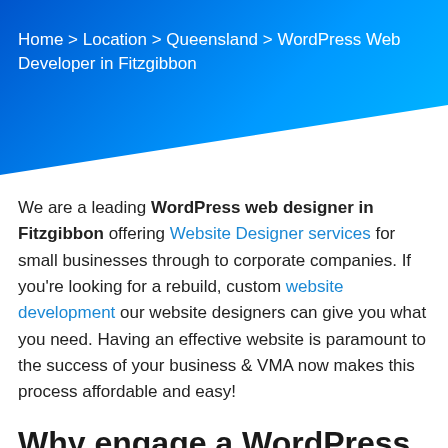Home > Location > Queensland > WordPress Web Developer in Fitzgibbon
We are a leading WordPress web designer in Fitzgibbon offering Website Designer services for small businesses through to corporate companies. If you’re looking for a rebuild, custom website development our website designers can give you what you need. Having an effective website is paramount to the success of your business & VMA now makes this process affordable and easy!
Why engage a WordPress expert in Fitzgibbon to create your website: